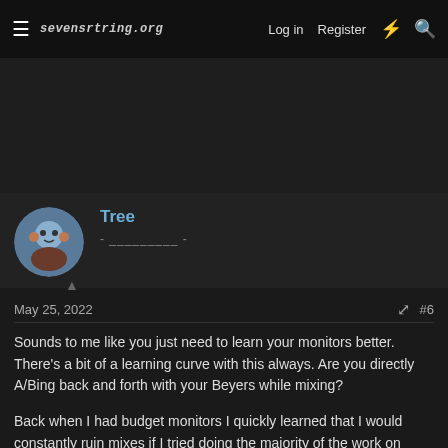sevensrtiny.org  Log in  Register
[Figure (other): Dark banner/advertisement area]
Tree
- _________ -
May 25, 2022  #6
Sounds to me like you just need to learn your monitors better. There's a bit of a learning curve with this always. Are you directly A/Bing back and forth with your Beyers while mixing?
Back when I had budget monitors I quickly learned that I would constantly ruin mixes if I tried doing the majority of the work on them as they were prone to exciting the "hype" frequencies (as in boost